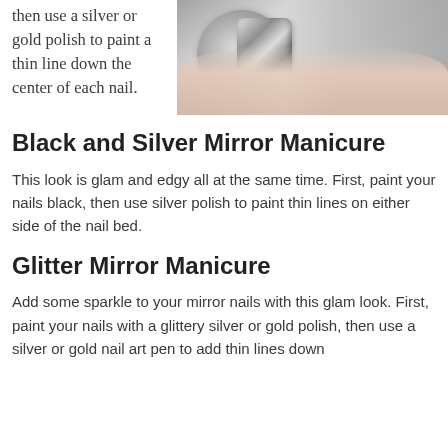then use a silver or gold polish to paint a thin line down the center of each nail.
[Figure (photo): Close-up photo of chrome/mirror silver nails holding a silver metallic container]
Black and Silver Mirror Manicure
This look is glam and edgy all at the same time. First, paint your nails black, then use silver polish to paint thin lines on either side of the nail bed.
Glitter Mirror Manicure
Add some sparkle to your mirror nails with this glam look. First, paint your nails with a glittery silver or gold polish, then use a silver or gold nail art pen to add thin lines down